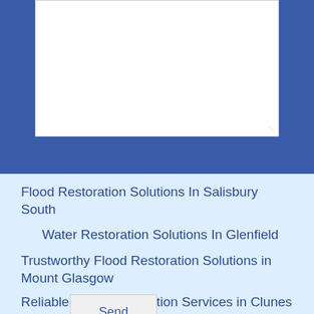[Figure (screenshot): Contact form textarea input field, empty, with white background on blue section]
Send
Flood Restoration Solutions In Salisbury South
Water Restoration Solutions In Glenfield
Trustworthy Flood Restoration Solutions in Mount Glasgow
Reliable Flood Restoration Services in Clunes